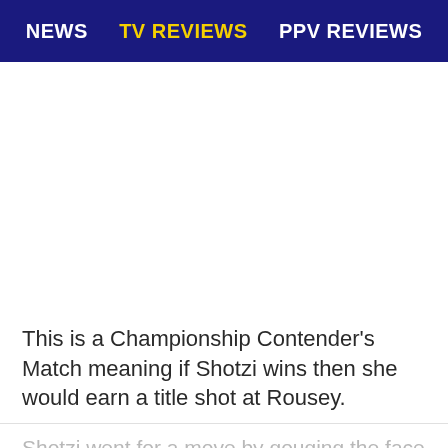NEWS | TV REVIEWS | PPV REVIEWS
[Figure (photo): Empty white image placeholder area]
This is a Championship Contender’s Match meaning if Shotzi wins then she would earn a title shot at Rousey.
Shotzi went for a move by gouging the face of Rousey. Rousey got a trip into a pin attempt for two.